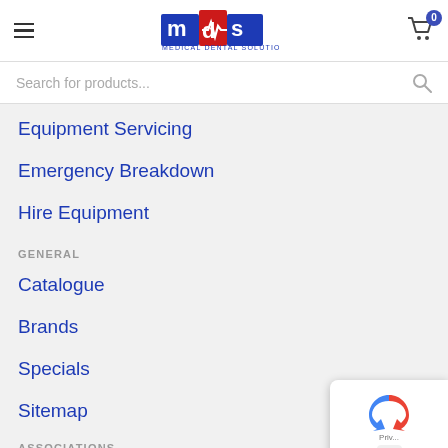[Figure (logo): Medical Dental Solutions (mds) logo with red heartbeat line graphic and blue block letters]
Search for products...
Equipment Servicing
Emergency Breakdown
Hire Equipment
GENERAL
Catalogue
Brands
Specials
Sitemap
ASSOCIATIONS